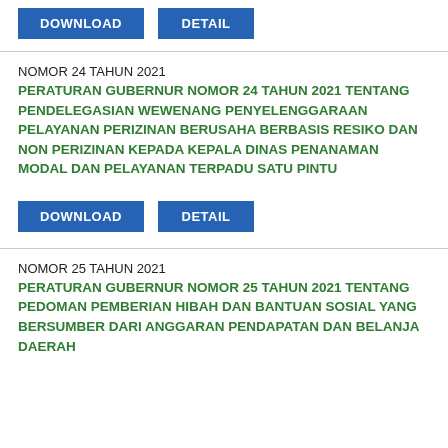[Figure (screenshot): DOWNLOAD and DETAIL buttons at top of page (partially visible)]
NOMOR 24 TAHUN 2021
PERATURAN GUBERNUR NOMOR 24 TAHUN 2021 TENTANG PENDELEGASIAN WEWENANG PENYELENGGARAAN PELAYANAN PERIZINAN BERUSAHA BERBASIS RESIKO DAN NON PERIZINAN KEPADA KEPALA DINAS PENANAMAN MODAL DAN PELAYANAN TERPADU SATU PINTU
[Figure (screenshot): DOWNLOAD and DETAIL buttons]
NOMOR 25 TAHUN 2021
PERATURAN GUBERNUR NOMOR 25 TAHUN 2021 TENTANG PEDOMAN PEMBERIAN HIBAH DAN BANTUAN SOSIAL YANG BERSUMBER DARI ANGGARAN PENDAPATAN DAN BELANJA DAERAH